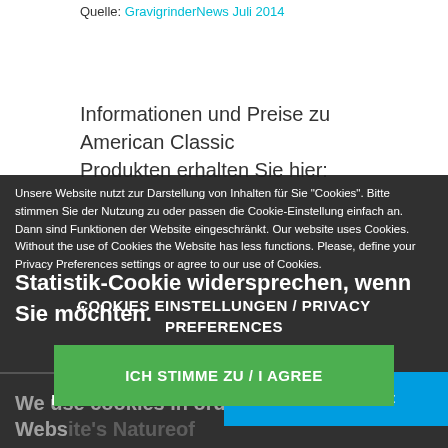Quelle: GravigrinderNews Juli 2014
Informationen und Preise zu American Classic Produkten erhalten Sie hier:
Unsere Website nutzt zur Darstellung von Inhalten für Sie "Cookies". Bitte stimmen Sie der Nutzung zu oder passen die Cookie-Einstellung einfach an. Dann sind Funktionen der Website eingeschränkt. Our website uses Cookies. Without the use of Cookies the Website has less functions. Please, define your Privacy Preferences settings or agree to our use of Cookies.
Statistik-Cookie widersprechen, wenn Sie möchten.
We use cookies in order to maximise our Website's Naturefunctions/Privacy use of cookies if you like. Mehr / More
COOKIES EINSTELLUNGEN / PRIVACY PREFERENCES
ICH STIMME ZU / I AGREE
Refuse / Ablehnen
Erlauben / Accept